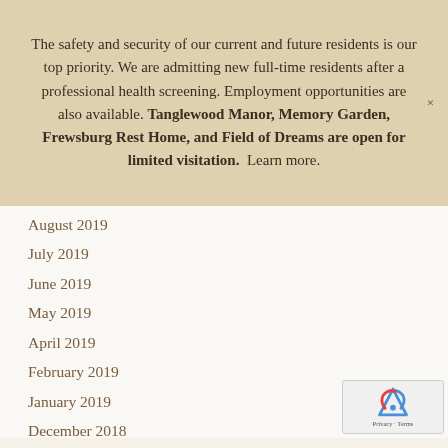The safety and security of our current and future residents is our top priority. We are admitting new full-time residents after a professional health screening. Employment opportunities are also available. Tanglewood Manor, Memory Garden, Frewsburg Rest Home, and Field of Dreams are open for limited visitation. Learn more.
August 2019
July 2019
June 2019
May 2019
April 2019
February 2019
January 2019
December 2018
November 2018
October 2018
September 2018
August 2018